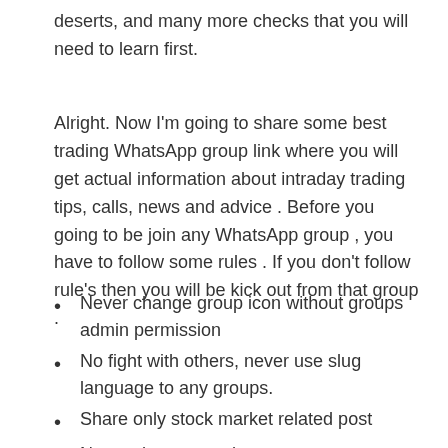deserts, and many more checks that you will need to learn first.
Alright. Now I’m going to share some best trading WhatsApp group link where you will get actual information about intraday trading tips, calls, news and advice . Before you going to be join any WhatsApp group , you have to follow some rules . If you don’t follow rule’s then you will be kick out from that group .
Never change group icon without groups admin permission
No fight with others, never use slug language to any groups.
Share only stock market related post
Never share any other content escape stock market
Respect everyone